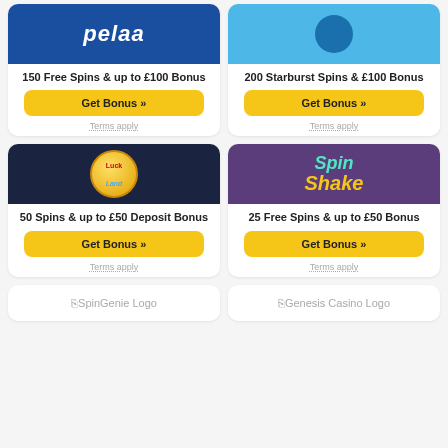[Figure (logo): Pelaa casino logo on blue background]
150 Free Spins & up to £100 Bonus
Get Bonus »
Terms apply
[Figure (logo): Starburst casino logo on light blue background]
200 Starburst Spins & £100 Bonus
Get Bonus »
Terms apply
[Figure (logo): LuckLand casino logo on dark navy background]
50 Spins & up to £50 Deposit Bonus
Get Bonus »
Terms apply
[Figure (logo): SpinShake casino logo on purple background]
25 Free Spins & up to £50 Bonus
Get Bonus »
Terms apply
[Figure (logo): SpinGenie Logo placeholder]
[Figure (logo): Genesis Casino Logo placeholder]